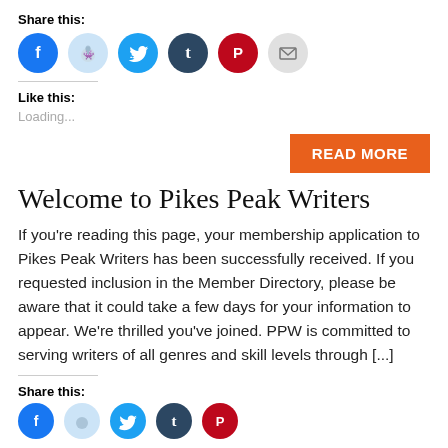Share this:
[Figure (infographic): Row of social sharing icon circles: Facebook (blue), Reddit (light blue), Twitter (cyan blue), Tumblr (dark navy), Pinterest (red), Email (gray)]
Like this:
Loading...
[Figure (other): READ MORE button in orange]
Welcome to Pikes Peak Writers
If you’re reading this page, your membership application to Pikes Peak Writers has been successfully received. If you requested inclusion in the Member Directory, please be aware that it could take a few days for your information to appear. We’re thrilled you’ve joined.  PPW is committed to serving writers of all genres and skill levels through [...]
Share this:
[Figure (infographic): Row of social sharing icon circles (partial, bottom of page): Facebook, Reddit, Twitter, Tumblr, Pinterest]